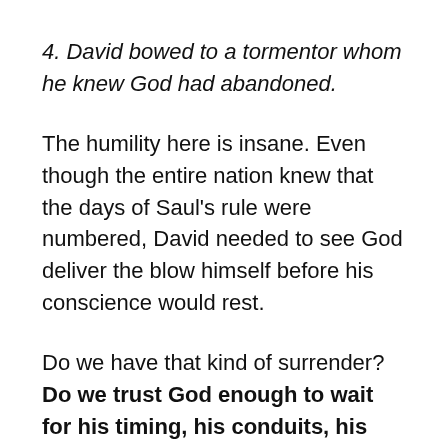4. David bowed to a tormentor whom he knew God had abandoned.
The humility here is insane. Even though the entire nation knew that the days of Saul's rule were numbered, David needed to see God deliver the blow himself before his conscience would rest.
Do we have that kind of surrender? Do we trust God enough to wait for his timing, his conduits, his stamp of approval, even when opportunities are dropped in our lap?